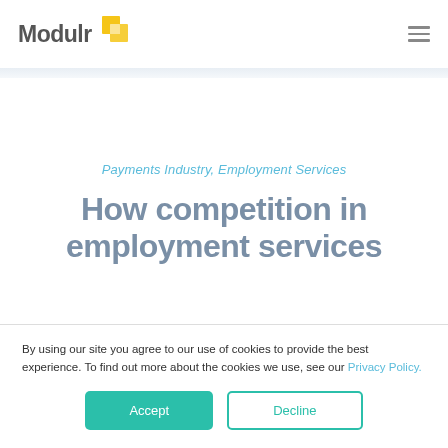Modulr
Payments Industry, Employment Services
How competition in employment services
By using our site you agree to our use of cookies to provide the best experience. To find out more about the cookies we use, see our Privacy Policy.
Accept | Decline